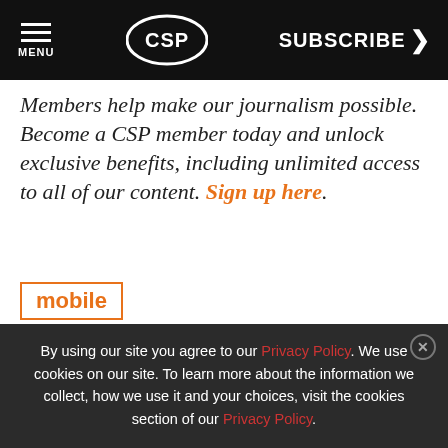MENU | CSP | SUBSCRIBE >
Members help make our journalism possible. Become a CSP member today and unlock exclusive benefits, including unlimited access to all of our content. Sign up here.
mobile
[Figure (screenshot): Advertisement banner for MenuPilot by DayMark showing food imagery, MenuPilot brand logo, and a red DayMark ad panel with text STREAMLINED ONBOARDING MENUPILOT DOES THE TRAINING]
By using our site you agree to our Privacy Policy. We use cookies on our site. To learn more about the information we collect, how we use it and your choices, visit the cookies section of our Privacy Policy.